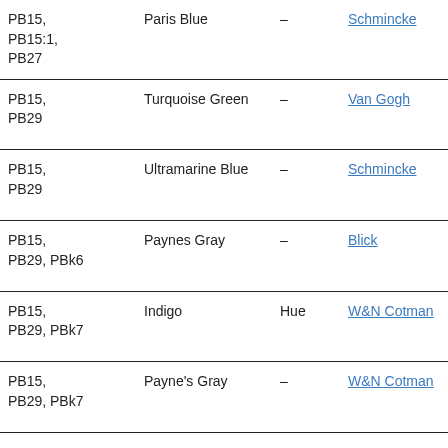| Pigments | Name | Hue | Brand | Swatch |
| --- | --- | --- | --- | --- |
| PB15,
PB15:1,
PB27 | Paris Blue | – | Schmincke | [swatch] |
| PB15,
PB29 | Turquoise Green | – | Van Gogh | [swatch] |
| PB15,
PB29 | Ultramarine Blue | – | Schmincke | [swatch] |
| PB15,
PB29, PBk6 | Paynes Gray | – | Blick | [swatch] |
| PB15,
PB29, PBk7 | Indigo | Hue | W&N Cotman | [swatch] |
| PB15,
PB29, PBk7 | Payne's Gray | – | W&N Cotman | [swatch] |